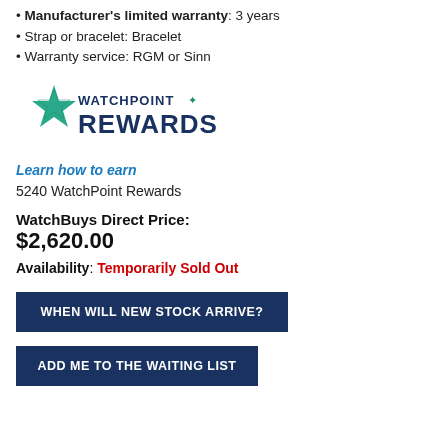• Manufacturer's limited warranty: 3 years
• Strap or bracelet: Bracelet
• Warranty service: RGM or Sinn
[Figure (logo): WatchPoint Rewards logo with teal star and dark blue text]
Learn how to earn
5240 WatchPoint Rewards
WatchBuys Direct Price:
$2,620.00
Availability: Temporarily Sold Out
WHEN WILL NEW STOCK ARRIVE?
ADD ME TO THE WAITING LIST